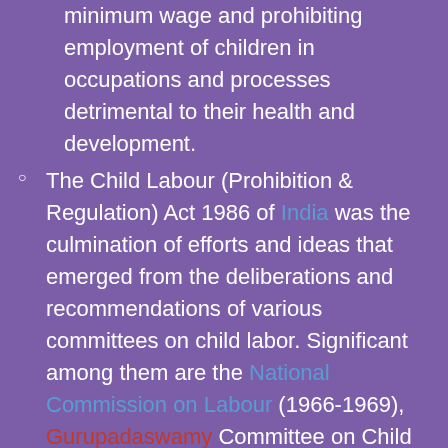minimum wage and prohibiting employment of children in occupations and processes detrimental to their health and development.
The Child Labour (Prohibition & Regulation) Act 1986 of India was the culmination of efforts and ideas that emerged from the deliberations and recommendations of various committees on child labor. Significant among them are the National Commission on Labour (1966-1969), Gurupadaswamy Committee on Child Labour (1979), and the Sanat Mehta Committee (1984).
The Act aims to prohibit the entry of children into hazardous occupations and to regulate the services of children in non-hazardous occupations. The Act, in particular,
– bans the employment of children, i.e. those